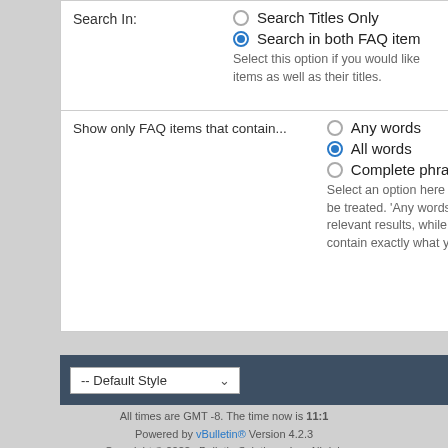Search In:
Search Titles Only
Search in both FAQ item
Select this option if you would like items as well as their titles.
Show only FAQ items that contain...
Any words
All words
Complete phrase
Select an option here to specify how be treated. 'Any words' will return relevant results, while 'Complete contain exactly what you are sea
-- Default Style
Contact Us
All times are GMT -8. The time now is 11:1
Powered by vBulletin® Version 4.2.3. Copyright © 2022 vBulletin Solutions, Inc. All righ
User Alert System provided by Advanced User Tagging v3.1.4 (Lite) - vBulletin M Technologies Ltd.